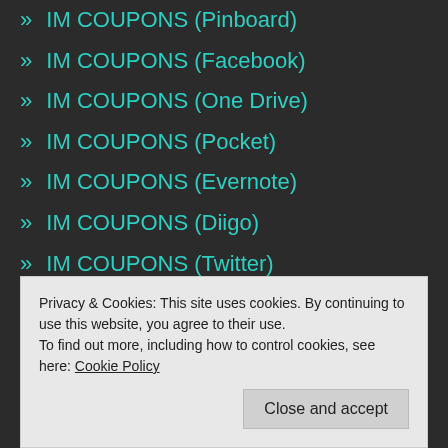» IM COUPONS (Pinboard)
» IM COUPONS (Facebook)
» IM COUPONS (One Drive)
» IM COUPONS (Pocket)
» IM COUPONS (Evernote)
» IM COUPONS (Diigo)
» IM COUPONS (Twitter)
» IM COUPONS (YouTube)
» IM COUPONS
» IM COUPONS (G Drive)
Privacy & Cookies: This site uses cookies. By continuing to use this website, you agree to their use. To find out more, including how to control cookies, see here: Cookie Policy
Close and accept